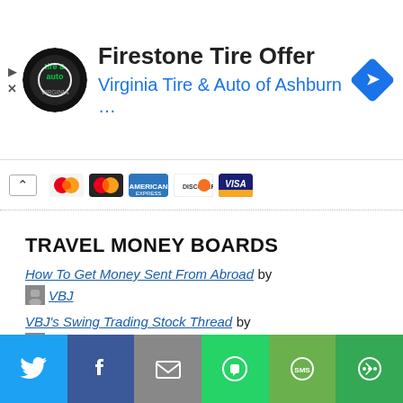[Figure (other): Advertisement banner: Firestone Tire Offer by Virginia Tire & Auto of Ashburn with logo and navigation icon]
[Figure (other): Payment method icons bar showing Maestro, Mastercard, American Express, Discover, and Visa cards with chevron-up button]
TRAVEL MONEY BOARDS
How To Get Money Sent From Abroad by VBJ
VBJ's Swing Trading Stock Thread by VBJ
How To Get Started Trading Cryptocurrency? by VBJ
[Figure (other): Social share bar with Twitter, Facebook, Email, WhatsApp, SMS, and More buttons]